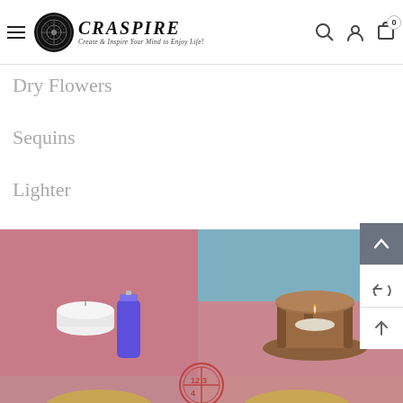CRASPIRE — Create & Inspire Your Mind to Enjoy Life!
Dry Flowers
Sequins
Lighter
[Figure (photo): Product photo: a white tealight candle next to a purple lighter on a pink background]
[Figure (photo): Product photo: a wooden candle holder with a lit tealight inside, on a blue-pink background]
[Figure (photo): Partial product photo showing golden/brass circular objects on pink background (bottom row)]